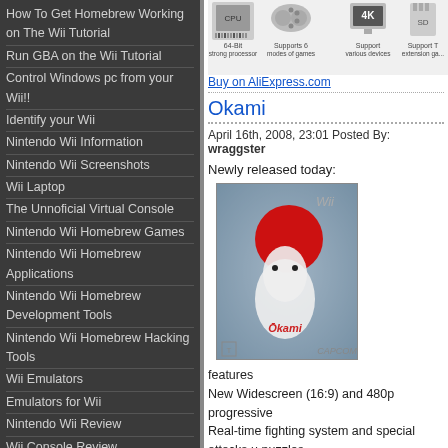How To Get Homebrew Working on The Wii Tutorial
Run GBA on the Wii Tutorial
Control Windows pc from your Wii!!
Identify your Wii
Nintendo Wii Information
Nintendo Wii Screenshots
Wii Laptop
The Unnoficial Virtual Console
Nintendo Wii Homebrew Games
Nintendo Wii Homebrew Applications
Nintendo Wii Homebrew Development Tools
Nintendo Wii Homebrew Hacking Tools
Wii Emulators
Emulators for Wii
Nintendo Wii Review
Wii Console Review
Gamecube Section
Tutorial to get Homebrew and Emulators to Work on Gamecube Without Modding
GBA Roms
Gamecube Roms
Nintendo DS Review
GBA Emulator FAQ
Gamecube Emulator FAQ Gamecube Emulators
[Figure (screenshot): Ad banner showing CPU, gamepad, 4K monitor, SD card icons with feature labels: 64-Bit strong processor, Supports 6 modes of games, Support various devices, Support extension ga...]
Buy on AliExpress.com
Okami
April 16th, 2008, 23:01 Posted By: wraggster
Newly released today:
[Figure (photo): Okami Wii game cover art showing a white wolf with Japanese-style art design and a large red sun circle, with Capcom and Wii branding]
features
New Widescreen (16:9) and 480p progressive
Real-time fighting system and special attacks u puzzles.
Use innovative controls and the Wii remote to